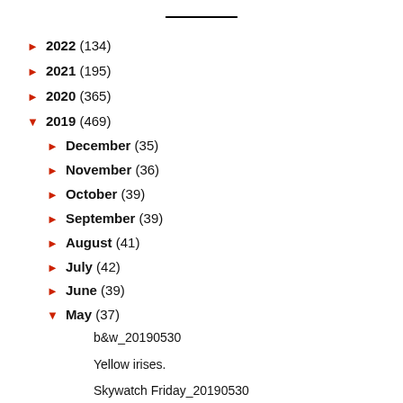2022 (134)
2021 (195)
2020 (365)
2019 (469)
December (35)
November (36)
October (39)
September (39)
August (41)
July (42)
June (39)
May (37)
b&w_20190530
Yellow irises.
Skywatch Friday_20190530
Natur Donnerstag_20190530
U for Unique